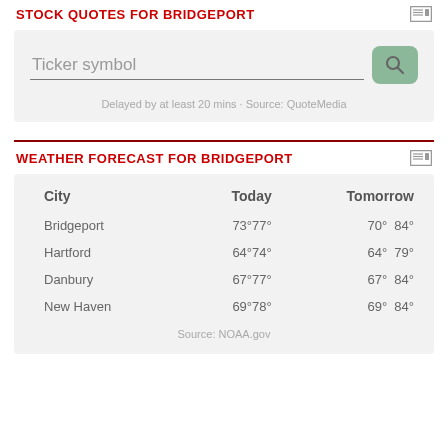STOCK QUOTES FOR BRIDGEPORT
[Figure (screenshot): Stock ticker search box with placeholder text 'Ticker symbol', a search button, and text 'Delayed by at least 20 mins · Source: QuoteMedia']
WEATHER FORECAST FOR BRIDGEPORT
| City | Today | Tomorrow |
| --- | --- | --- |
| Bridgeport | 73°77° | 70°  84° |
| Hartford | 64°74° | 64°  79° |
| Danbury | 67°77° | 67°  84° |
| New Haven | 69°78° | 69°  84° |
Source: NOAA.gov